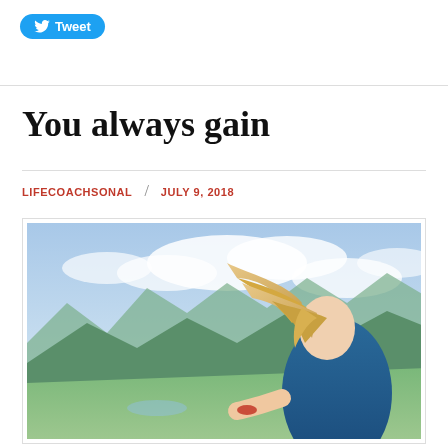Tweet
You always gain
LIFECOACHSONAL / JULY 9, 2018
[Figure (photo): A young blonde woman with long flowing hair in a denim jacket, standing on a mountain overlook with scenic valley and cloudy sky in the background, hair blowing in the wind, eyes closed, smiling peacefully.]